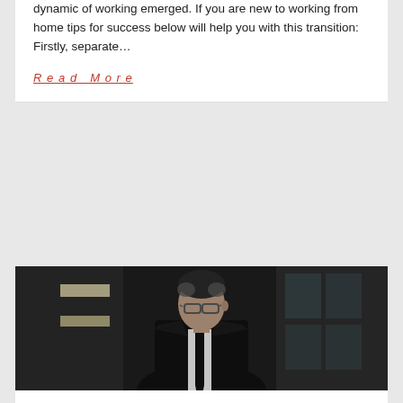dynamic of working emerged. If you are new to working from home tips for success below will help you with this transition: Firstly, separate…
Read More
[Figure (photo): Professional man in black suit and glasses looking to the side in an office setting]
04 SEP  by Gina Bell  /  Comments Off on Career Transition- 7 Top Secret Emotions You Can